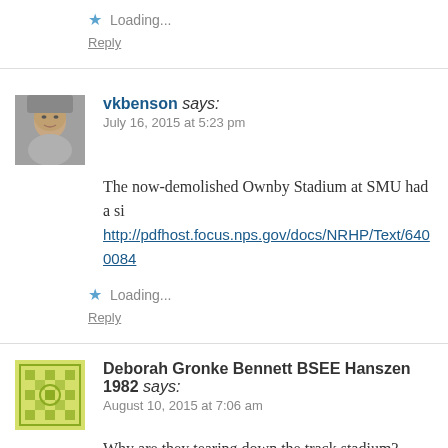★ Loading...
Reply
vkbenson says:
July 16, 2015 at 5:23 pm
The now-demolished Ownby Stadium at SMU had a si... http://pdfhost.focus.nps.gov/docs/NRHP/Text/6400084...
★ Loading...
Reply
Deborah Gronke Bennett BSEE Hanszen 1982 says:
August 10, 2015 at 7:06 am
Why are they tearing down the track stadium?